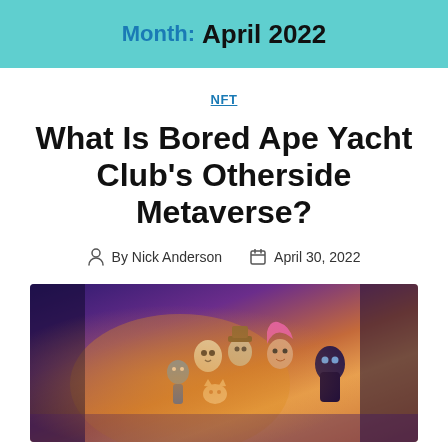Month: April 2022
NFT
What Is Bored Ape Yacht Club's Otherside Metaverse?
By Nick Anderson   April 30, 2022
[Figure (photo): Animated characters from the Otherside metaverse promotional image, showing various cartoon/NFT-style characters grouped together against a warm glowing background]